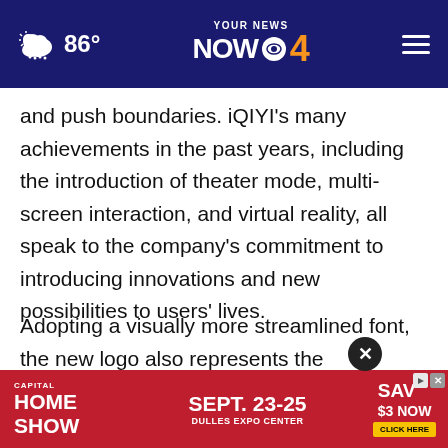86° YOUR NEWS NOW 4
and push boundaries. iQIYI's many achievements in the past years, including the introduction of theater mode, multi-screen interaction, and virtual reality, all speak to the company's commitment to introducing innovations and new possibilities to users' lives.
Adopting a visually more streamlined font, the new logo also represents the company's focused dedication to marrying human ingenuity with the most vibrant, lighter green of the new logo communicates a
[Figure (screenshot): Capital Home Show advertisement banner: SEPT. 23-25 DULLES EXPO CENTER, SAV $3 NOW, CLICK HERE]